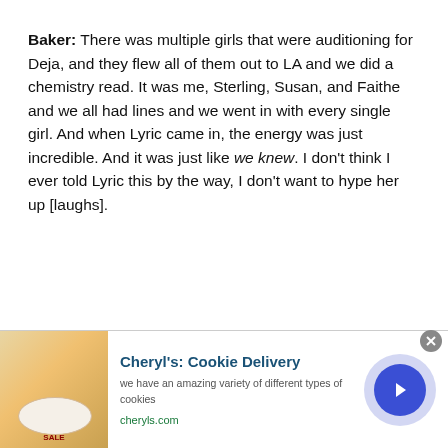Baker: There was multiple girls that were auditioning for Deja, and they flew all of them out to LA and we did a chemistry read. It was me, Sterling, Susan, and Faithe and we all had lines and we went in with every single girl. And when Lyric came in, the energy was just incredible. And it was just like we knew. I don't think I ever told Lyric this by the way, I don't want to hype her up [laughs].
Herman: I can't imagine how nervous Lyric was but soon as we met her, it was so nice. She is so sweet and such an amazing
[Figure (screenshot): Advertisement banner for Cheryl's Cookie Delivery showing cookie image, title 'Cheryl's: Cookie Delivery', subtitle 'we have an amazing variety of different types of cookies', URL 'cheryls.com', and a blue circular arrow button.]